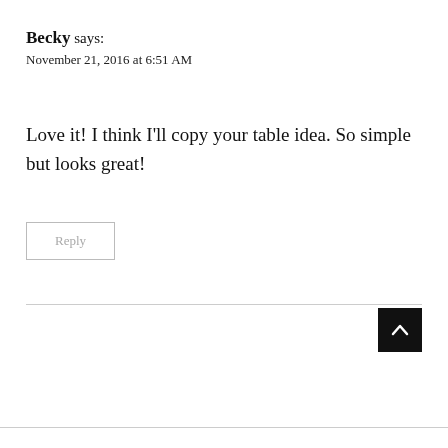Becky says:
November 21, 2016 at 6:51 AM
Love it! I think I'll copy your table idea. So simple but looks great!
Reply